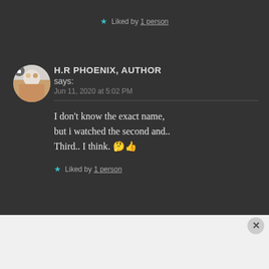★ Liked by 1 person
H.R PHOENIX, AUTHOR says: Jun 11, 2020 at 5:02 PM
I don't know the exact name, but i watched the second and.. Third.. I think. 🤔👍
★ Liked by 1 person
Advertisements
AUTOMATTIC — Build a better web and a better world.